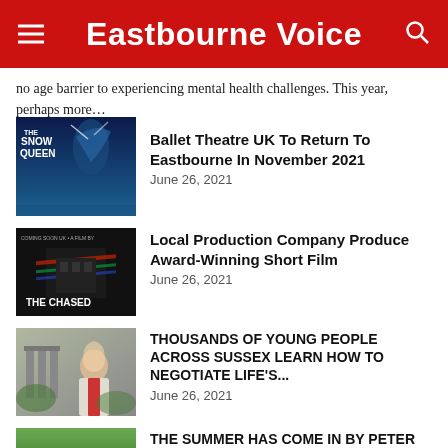Eastbourne Voice
no age barrier to experiencing mental health challenges. This year, perhaps more…
Ballet Theatre UK To Return To Eastbourne In November 2021
June 26, 2021
Local Production Company Produce Award-Winning Short Film
June 26, 2021
THOUSANDS OF YOUNG PEOPLE ACROSS SUSSEX LEARN HOW TO NEGOTIATE LIFE'S...
June 26, 2021
THE SUMMER HAS COME IN by Peter Wath…
June 26, 2021